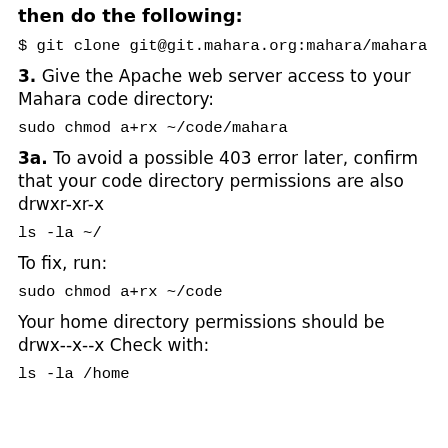then do the following:
$ git clone git@git.mahara.org:mahara/mahara
3. Give the Apache web server access to your Mahara code directory:
sudo chmod a+rx ~/code/mahara
3a. To avoid a possible 403 error later, confirm that your code directory permissions are also drwxr-xr-x
ls -la ~/
To fix, run:
sudo chmod a+rx ~/code
Your home directory permissions should be drwx--x--x Check with:
ls -la /home